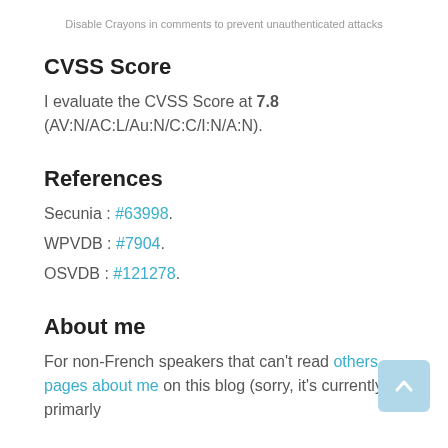Disable Crayons in comments to prevent unauthenticated attacks
CVSS Score
I evaluate the CVSS Score at 7.8 (AV:N/AC:L/Au:N/C:C/I:N/A:N).
References
Secunia : #63998.
WPVDB : #7904.
OSVDB : #121278.
About me
For non-French speakers that can't read others pages about me on this blog (sorry, it's currently primarly